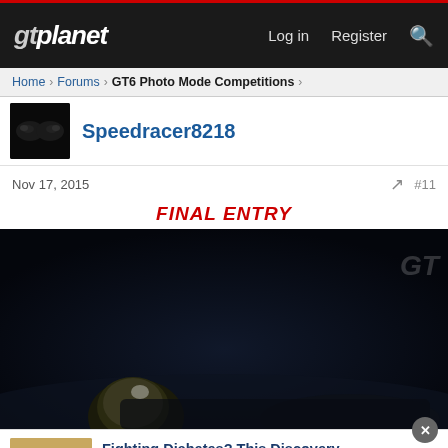gtplanet   Log in   Register   🔍
Home › Forums › GT6 Photo Mode Competitions ›
Speedracer8218
Nov 17, 2015   #11
FINAL ENTRY
[Figure (photo): Dark photo mode screenshot from Gran Turismo 6 showing a car with helmet/trophy visible at bottom left, dark blue/black background with GT logo watermark in top right]
[Figure (photo): Advertisement: Fighting Diabetes? This Discovery Leaves — dailytips.info — thumbnail of cashew nuts]